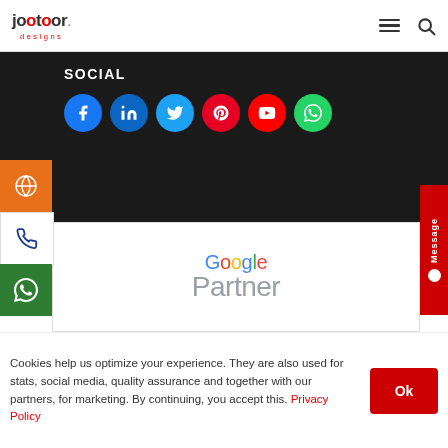Jootoor designs — navigation header with hamburger menu and search icon
SOCIAL
[Figure (infographic): Row of social media icons: Facebook (blue), LinkedIn (dark blue), Twitter (light blue), Pinterest (red), YouTube (red), WhatsApp (green)]
[Figure (logo): Google Partner logo]
[Figure (logo): GoDaddy logo]
Cookies help us optimize your experience. They are also used for stats, social media, quality assurance and together with our partners, for marketing. By continuing, you accept this. Privacy Policy